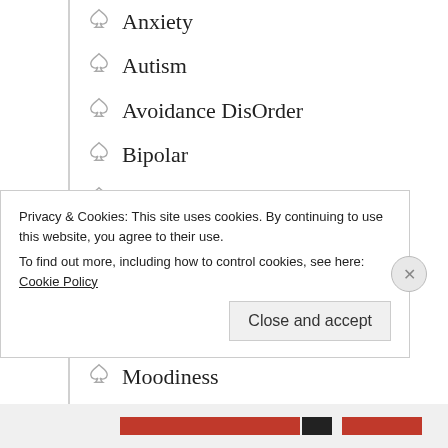Anxiety
Autism
Avoidance DisOrder
Bipolar
Delusion
Depression
Euphoria
Manic Depression
Moodiness
Multiple Personality DisOrder
Narcissism
Privacy & Cookies: This site uses cookies. By continuing to use this website, you agree to their use. To find out more, including how to control cookies, see here: Cookie Policy
Close and accept